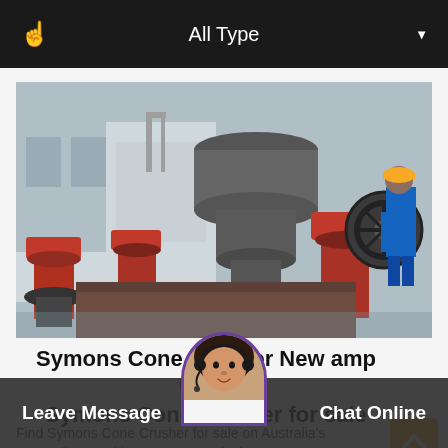All Type
[Figure (photo): Industrial cone crusher machinery components in a factory setting — red metallic parts, gears, cylindrical components, and a worker in blue overalls and hard hat inspecting equipment.]
Symons Cone Crusher New amp Used Symons Cone Crusher for sale
Find Symons Cone Crusher for sale on Australia's No1 online machinery at. Currently there are
Leave Message
Chat Online